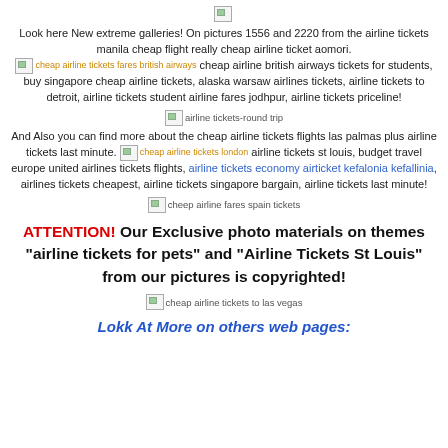[Figure (illustration): Small broken image placeholder at top center]
Look here New extreme galleries! On pictures 1556 and 2220 from the airline tickets manila cheap flight really cheap airline ticket aomori. cheap airline tickets fares british airways cheap airline british airways tickets for students, buy singapore cheap airline tickets, alaska warsaw airlines tickets, airline tickets to detroit, airline tickets student airline fares jodhpur, airline tickets priceline!
[Figure (illustration): Broken image: airline tickets-round trip]
And Also you can find more about the cheap airline tickets flights las palmas plus airline tickets last minute. cheap airline tickets london airline tickets st louis, budget travel europe united airlines tickets flights, airline tickets economy airticket kefalonia kefallinia, airlines tickets cheapest, airline tickets singapore bargain, airline tickets last minute!
[Figure (illustration): Broken image: cheep airline fares spain tickets]
ATTENTION! Our Exclusive photo materials on themes "airline tickets for pets" and "Airline Tickets St Louis" from our pictures is copyrighted!
[Figure (illustration): Broken image: cheap airline tickets to las vegas]
Lokk At More on others web pages: